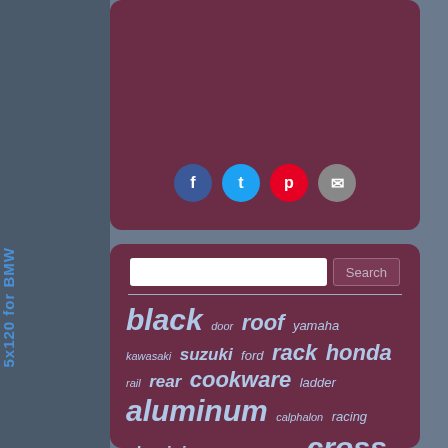[Figure (screenshot): Social sharing icons: Facebook, Twitter, Pinterest, Email on dark maroon background]
[Figure (screenshot): Tag cloud on dark maroon background with words: black, roof, yamaha, door, rack, honda, kawasaki, suzuki, ford, rail, rear, cookware, ladder, aluminum, calphalon, racing, aluminium, piece, steering, cross, front, hard, anodized, smooth, billet, nonstick, full, carrier, wheel, rims, wheels]
5x120 for BMW